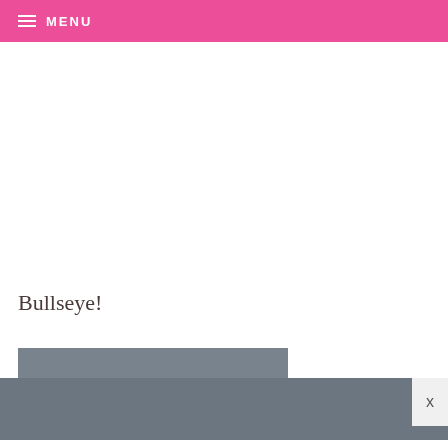MENU
Bullseye!
[Figure (other): Gray stepped banner/advertisement block at bottom of page with a close (X) button overlay in the bottom right corner]